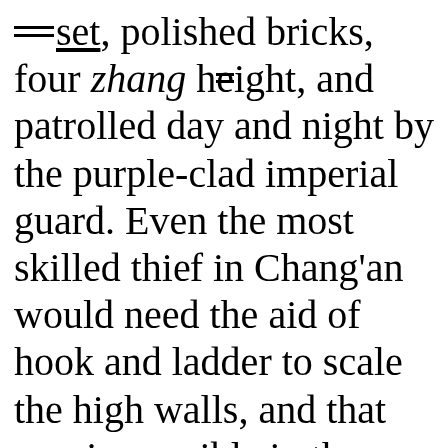set, polished bricks, four zhang height, and patrolled day and night by the purple-clad imperial guard. Even the most skilled thief in Chang'an would need the aid of hook and ladder to scale the high walls, and that was impossible in the case of the imperial city. But it was even more unthinkable that the thief was someone within the imperial